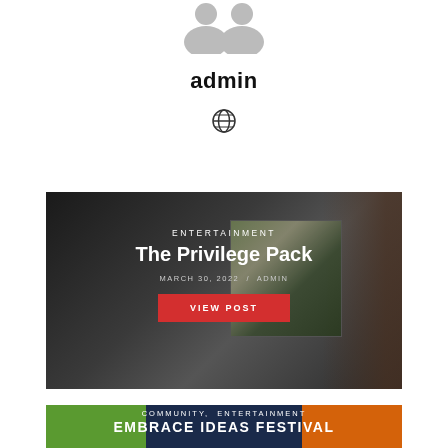[Figure (illustration): Admin avatar/profile icon (two person silhouettes)]
admin
[Figure (illustration): Globe/website icon]
[Figure (photo): Dark background photo with album art overlay — The Privilege Pack post card]
ENTERTAINMENT
The Privilege Pack
MARCH 30, 2022   /   ADMIN
VIEW POST
[Figure (photo): Embrace Ideas Festival card with two men on green and orange background]
COMMUNITY,  ENTERTAINMENT
EMBRACE IDEAS FESTIVAL